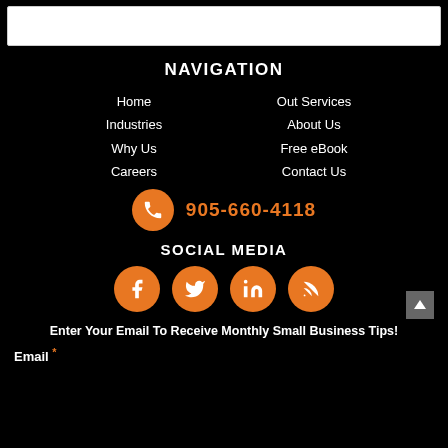NAVIGATION
Home
Industries
Why Us
Careers
Out Services
About Us
Free eBook
Contact Us
905-660-4118
SOCIAL MEDIA
[Figure (infographic): Four orange circular social media icons: Facebook, Twitter, LinkedIn, RSS]
Enter Your Email To Receive Monthly Small Business Tips!
Email *